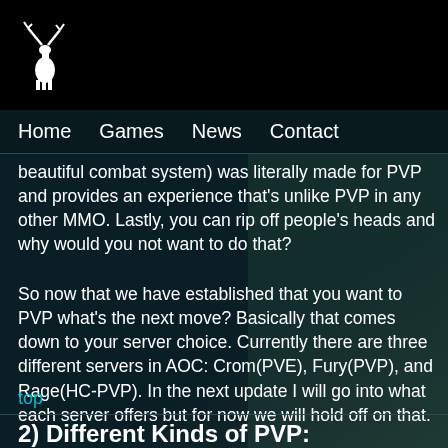[Figure (logo): White deer/stag logo icon on black background header]
Home   Games   News   Contact
beautiful combat system) was literally made for PVP and provides an experience that's unlike PVP in any other MMO. Lastly, you can rip off people’s heads and why would you not want to do that?
So now that we have established that you want to PVP what’s the next move? Basically that comes down to your server choice. Currently there are three different servers in AOC: Crom(PVE), Fury(PVP), and Rage(HC-PVP). In the next update I will go into what each server offers but for now we will hold off on that.
top
2) Different Kinds of PVP: